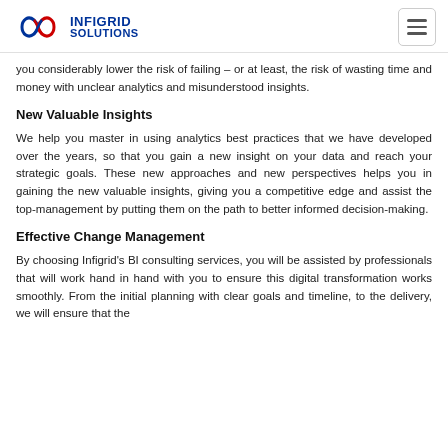INFIGRID SOLUTIONS
you considerably lower the risk of failing – or at least, the risk of wasting time and money with unclear analytics and misunderstood insights.
New Valuable Insights
We help you master in using analytics best practices that we have developed over the years, so that you gain a new insight on your data and reach your strategic goals. These new approaches and new perspectives helps you in gaining the new valuable insights, giving you a competitive edge and assist the top-management by putting them on the path to better informed decision-making.
Effective Change Management
By choosing Infigrid's BI consulting services, you will be assisted by professionals that will work hand in hand with you to ensure this digital transformation works smoothly. From the initial planning with clear goals and timeline, to the delivery, we will ensure that the